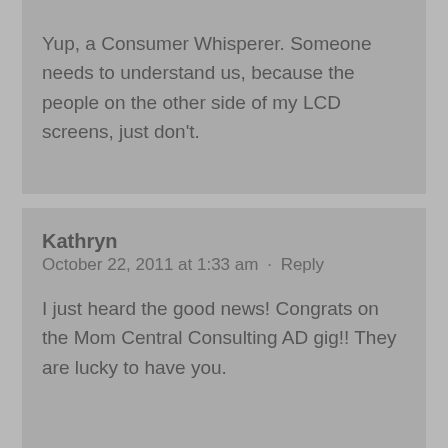Yup, a Consumer Whisperer. Someone needs to understand us, because the people on the other side of my LCD screens, just don't.
Kathryn
October 22, 2011 at 1:33 am · Reply
I just heard the good news! Congrats on the Mom Central Consulting AD gig!! They are lucky to have you.